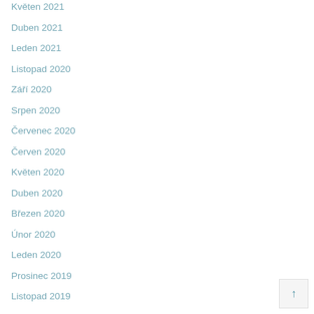Květen 2021
Duben 2021
Leden 2021
Listopad 2020
Září 2020
Srpen 2020
Červenec 2020
Červen 2020
Květen 2020
Duben 2020
Březen 2020
Únor 2020
Leden 2020
Prosinec 2019
Listopad 2019